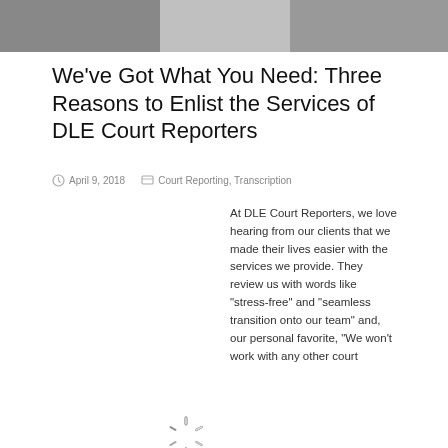[Figure (photo): Black and white photo of people, partially visible at top of page]
We’ve Got What You Need: Three Reasons to Enlist the Services of DLE Court Reporters
April 9, 2018    Court Reporting, Transcription
[Figure (other): Loading spinner icon in center of content area]
At DLE Court Reporters, we love hearing from our clients that we made their lives easier with the services we provide. They review us with words like “stress-free” and “seamless transition onto our team” and, our personal favorite, “We won’t work with any other court